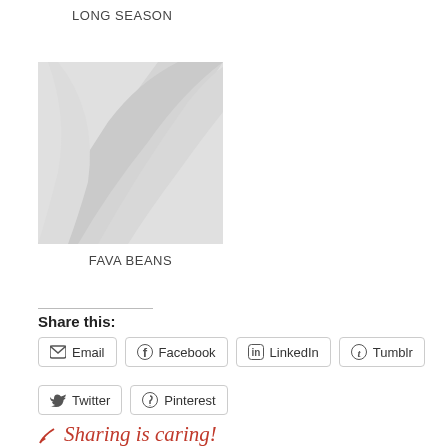LONG SEASON
[Figure (photo): Placeholder image with wavy grey pattern]
FAVA BEANS
Share this:
Email  Facebook  LinkedIn  Tumblr  Twitter  Pinterest
Sharing is caring!